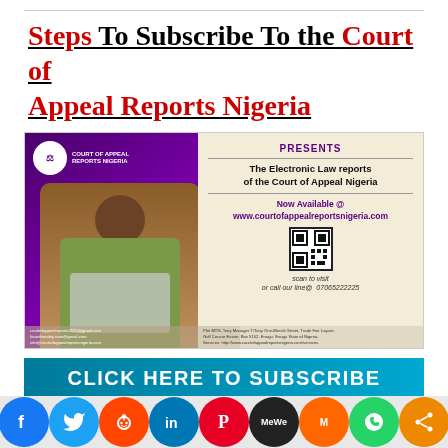Steps To Subscribe To the Court of Appeal Reports Nigeria
[Figure (infographic): Court of Appeal Reports Nigeria advertisement banner showing a woman with laptop, logo, text about electronic law reports, QR code, and website URL www.courtofappealreportsnigeria.com]
CLICK HERE TO SUBSCRIBE
[Figure (infographic): Social media share icons row: Facebook, Twitter, Reddit, LinkedIn, Pinterest, MeWe, Mix, WhatsApp, Share]